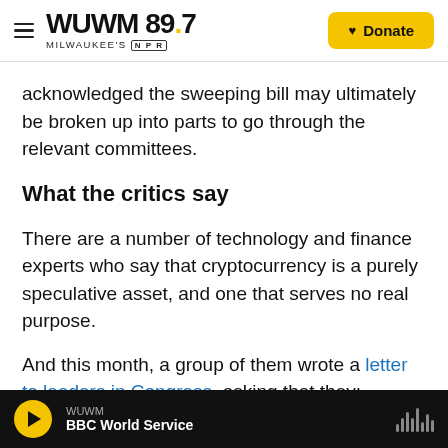WUWM 89.7 Milwaukee's NPR — Donate
acknowledged the sweeping bill may ultimately be broken up into parts to go through the relevant committees.
What the critics say
There are a number of technology and finance experts who say that cryptocurrency is a purely speculative asset, and one that serves no real purpose.
And this month, a group of them wrote a letter to leaders in Congress, asking that they: "Ensure that
WUWM — BBC World Service (audio player)